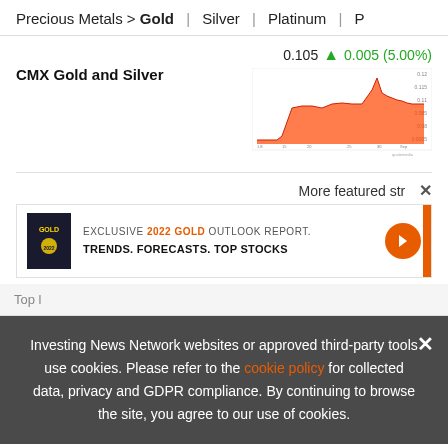Precious Metals > Gold | Silver | Platinum | P
CMX Gold and Silver  0.105  0.005 (5.00%)
[Figure (area-chart): Small area chart showing CMX Gold and Silver price over time, red/orange filled area with upward spike near end]
More featured str  ×
[Figure (infographic): Advertisement: EXCLUSIVE 2022 GOLD OUTLOOK REPORT. TRENDS. FORECASTS. TOP STOCKS. With book image and orange arrow button.]
Top l
Investing News Network websites or approved third-party tools use cookies. Please refer to the cookie policy for collected data, privacy and GDPR compliance. By continuing to browse the site, you agree to our use of cookies.